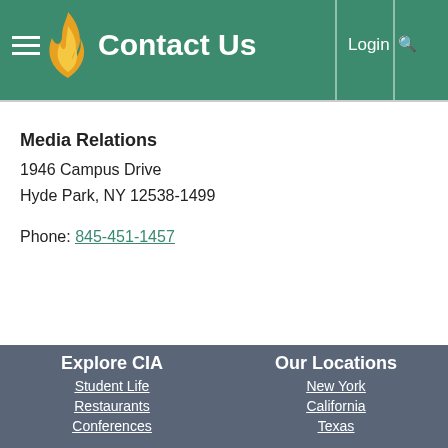Contact Us
Media Relations
1946 Campus Drive
Hyde Park, NY 12538-1499

Phone: 845-451-1457
Explore CIA
Student Life
Restaurants
Conferences
Consulting
Executive Education
Weddings and Events
Our Locations
New York
California
Texas
Singapore